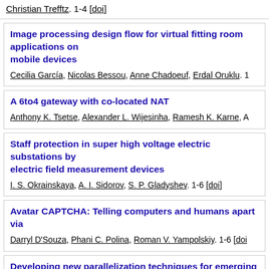Christian Trefftz. 1-4 [doi]
Image processing design flow for virtual fitting room applications on mobile devices
Cecilia García, Nicolas Bessou, Anne Chadoeuf, Erdal Oruklu. 1-
A 6to4 gateway with co-located NAT
Anthony K. Tsetse, Alexander L. Wijesinha, Ramesh K. Karne, A
Staff protection in super high voltage electric substations by electric field measurement devices
I. S. Okrainskaya, A. I. Sidorov, S. P. Gladyshev. 1-6 [doi]
Avatar CAPTCHA: Telling computers and humans apart via
Darryl D'Souza, Phani C. Polina, Roman V. Yampolskiy. 1-6 [doi
Developing new parallelization techniques for emerging HP life science applications